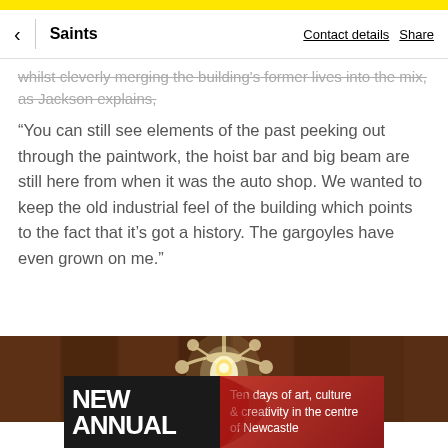Saints | Contact details | Share
whilst cleverly merging the building's former lives into the mix, as Jackson explains,
“You can still see elements of the past peeking out through the paintwork, the hoist bar and big beam are still here from when it was the auto shop. We wanted to keep the old industrial feel of the building which points to the fact that it’s got a history. The gargoyles have even grown on me.”
[Figure (photo): Interior photo showing vintage industrial ceiling with wooden beams and a decorative light fixture/chandelier with glowing bulb and ornamental details]
[Figure (infographic): Advertisement banner with black background showing 'NEW ANNUAL' text in bold white on left side and red background on right with text 'Ten days of art, culture & creativity in the centre of Newcastle']